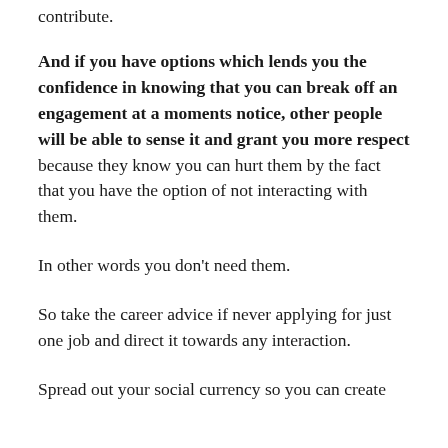2 parties to determine how much each one will contribute.
And if you have options which lends you the confidence in knowing that you can break off an engagement at a moments notice, other people will be able to sense it and grant you more respect because they know you can hurt them by the fact that you have the option of not interacting with them.
In other words you don't need them.
So take the career advice if never applying for just one job and direct it towards any interaction.
Spread out your social currency so you can create